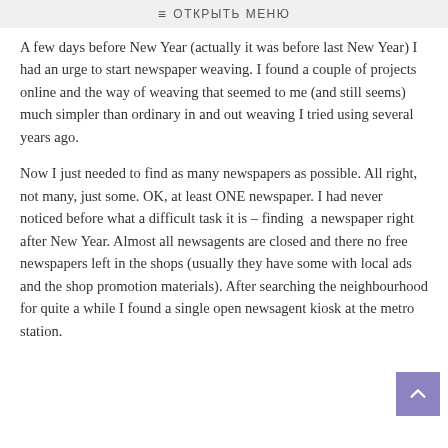≡ ОТКРЫТЬ МЕНЮ
A few days before New Year (actually it was before last New Year) I had an urge to start newspaper weaving. I found a couple of projects online and the way of weaving that seemed to me (and still seems) much simpler than ordinary in and out weaving I tried using several years ago.
Now I just needed to find as many newspapers as possible. All right, not many, just some. OK, at least ONE newspaper. I had never noticed before what a difficult task it is – finding a newspaper right after New Year. Almost all newsagents are closed and there no free newspapers left in the shops (usually they have some with local ads and the shop promotion materials). After searching the neighbourhood for quite a while I found a single open newsagent kiosk at the metro station.